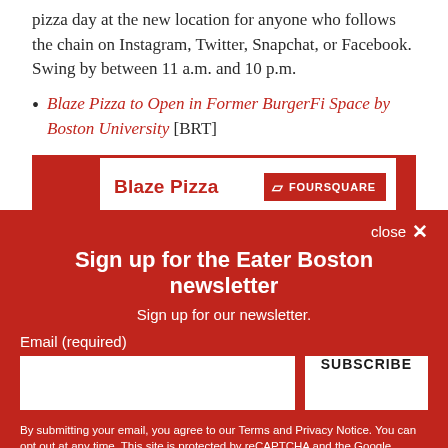pizza day at the new location for anyone who follows the chain on Instagram, Twitter, Snapchat, or Facebook. Swing by between 11 a.m. and 10 p.m.
Blaze Pizza to Open in Former BurgerFi Space by Boston University [BRT]
[Figure (screenshot): Map preview bar showing Blaze Pizza label in red and Foursquare badge]
Sign up for the Eater Boston newsletter
Sign up for our newsletter.
Email (required)
SUBSCRIBE
By submitting your email, you agree to our Terms and Privacy Notice. You can opt out at any time. This site is protected by reCAPTCHA and the Google Privacy Policy and Terms of Service apply.